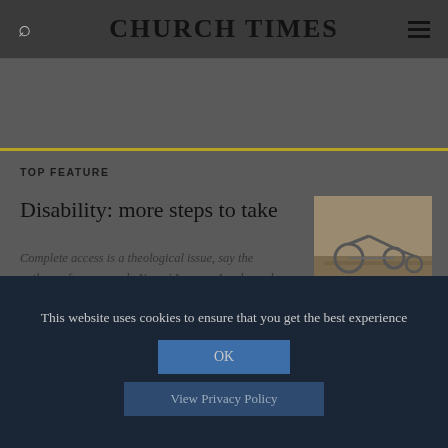CHURCH TIMES
TOP FEATURE
Disability: more steps to take
Complete access is a theological issue, say the authors of a new work, Naomi Lawson Jacobs and Emily Richardson
[Figure (photo): Photo of a small tricycle or mobility aid on a wooden surface]
This website uses cookies to ensure that you get the best experience
OK
View Privacy Policy